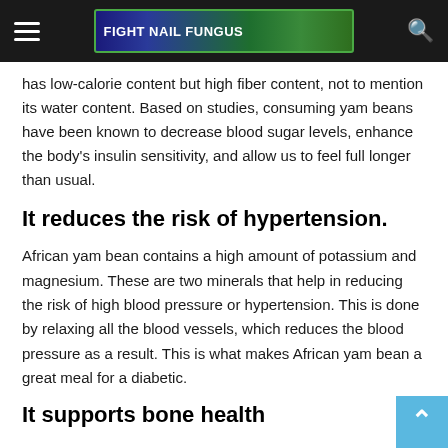FIGHT NAIL FUNGUS [navigation bar with hamburger menu, ad banner, and search icon]
has low-calorie content but high fiber content, not to mention its water content. Based on studies, consuming yam beans have been known to decrease blood sugar levels, enhance the body's insulin sensitivity, and allow us to feel full longer than usual.
It reduces the risk of hypertension.
African yam bean contains a high amount of potassium and magnesium. These are two minerals that help in reducing the risk of high blood pressure or hypertension. This is done by relaxing all the blood vessels, which reduces the blood pressure as a result. This is what makes African yam bean a great meal for a diabetic.
It supports bone health